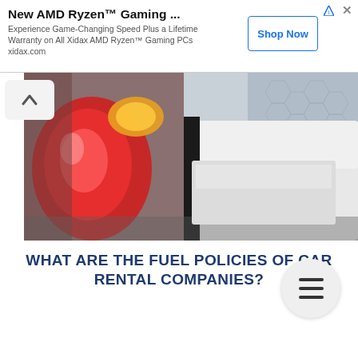[Figure (screenshot): Advertisement banner for New AMD Ryzen Gaming PCs by Xidax with Shop Now button]
[Figure (photo): Close-up photo of car tail lights and side panels of two cars next to each other, one showing red tail light and one showing white/silver body]
WHAT ARE THE FUEL POLICIES OF CAR RENTAL COMPANIES?